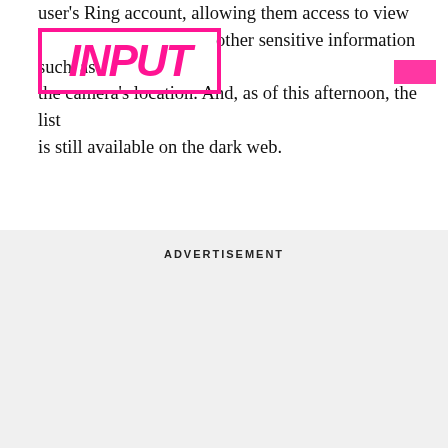user's Ring account, allowing them access to view credentials, too, and other sensitive information such as the camera's location. And, as of this afternoon, the list is still available on the dark web.
[Figure (logo): INPUT magazine logo in magenta/pink with a pink rectangular border]
AMAZON CONTINUES TO DENY, DENY, DENY —
The security researcher has already reported the list to Amazon, and the company asked the researcher to not discuss the findings in public.
ADVERTISEMENT